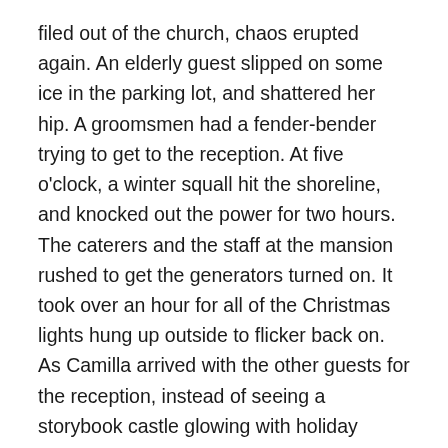filed out of the church, chaos erupted again. An elderly guest slipped on some ice in the parking lot, and shattered her hip. A groomsmen had a fender-bender trying to get to the reception. At five o'clock, a winter squall hit the shoreline, and knocked out the power for two hours. The caterers and the staff at the mansion rushed to get the generators turned on. It took over an hour for all of the Christmas lights hung up outside to flicker back on. As Camilla arrived with the other guests for the reception, instead of seeing a storybook castle glowing with holiday cheer, the giant mansion was almost entirely dark in the night.
Even after everyone was safely inside, with the power back on, trouble just followed them in. Libby had ordered the construction of a life-size gingerbread house in one of the ballrooms, and arranged for a photographer